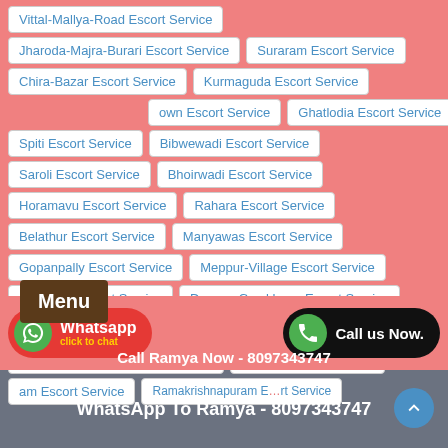Vittal-Mallya-Road Escort Service
Jharoda-Majra-Burari Escort Service
Suraram Escort Service
Chira-Bazar Escort Service
Kurmaguda Escort Service
Town Escort Service
Ghatlodia Escort Service
Spiti Escort Service
Bibwewadi Escort Service
Saroli Escort Service
Bhoirwadi Escort Service
Horamavu Escort Service
Rahara Escort Service
Belathur Escort Service
Manyawas Escort Service
Gopanpally Escort Service
Meppur-Village Escort Service
Karamala Escort Service
Deccan-Gymkhana Escort Service
Sarat-Chatterjee-Rd Escort Service
Soundarya-Layout Escort Service
Doongri Escort Service
am Escort Service
Ramakrishnapuram Escort Service
Call Ramya Now - 8097343747
WhatsApp To Ramya - 8097343747